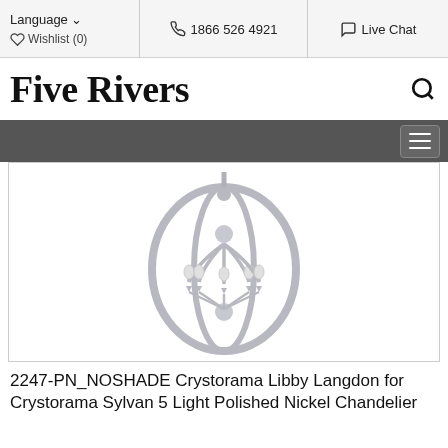Language  |  1866 526 4921  |  Live Chat  |  Wishlist (0)
Five Rivers
[Figure (photo): A polished nickel chandelier with 5 candelabra lights arranged in a circular orbital ring frame — the Crystorama Libby Langdon Sylvan chandelier, model 2247-PN_NOSHADE.]
2247-PN_NOSHADE Crystorama Libby Langdon for Crystorama Sylvan 5 Light Polished Nickel Chandelier